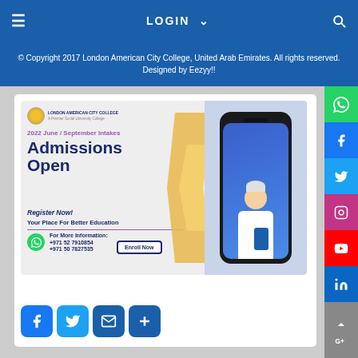≡  LOGIN ∨  🔍
© Copyright 2017 London American City College, United Arab Emirates. All rights reserved. Designed by Eezyy!!
[Figure (infographic): London American City College admissions advertisement banner: 2022 June / September Intakes, Admissions Open, Register Now!, Your Place For Better Education, For More Information: +971 52 7910854, +971 50 7827535, Enroll Now button. Features photo of smiling male student holding a book, yellow arrow graphic, phone mockup, college logo.]
[Figure (infographic): Social media share buttons: Facebook (blue), Twitter (blue), Email (blue), Plus/share (blue)]
[Figure (infographic): Right sidebar social media links: WhatsApp (green), Facebook (blue), Twitter (light blue), Instagram (pink/purple), YouTube (red), LinkedIn (dark blue), Google+ scroll-to-top button]